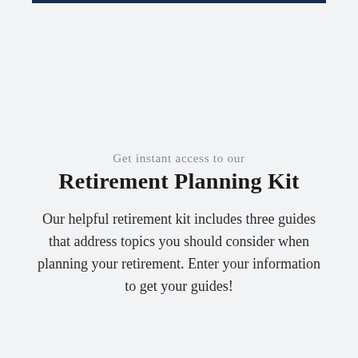Get instant access to our Retirement Planning Kit
Our helpful retirement kit includes three guides that address topics you should consider when planning your retirement. Enter your information to get your guides!